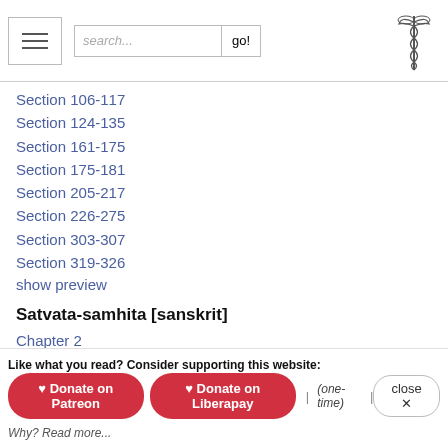search... go!
Section 106-117
Section 124-135
Section 161-175
Section 175-181
Section 205-217
Section 226-275
Section 303-307
Section 319-326
show preview
Satvata-samhita [sanskrit]
Chapter 2
Chapter 6
Chapter 7
Chapter 8
Chapter 9
Chapter 12
Like what you read? Consider supporting this website:
♥ Donate on Patreon  ♥ Donate on Liberapay  |  (one-time)  |  close ✕
Why? Read more...